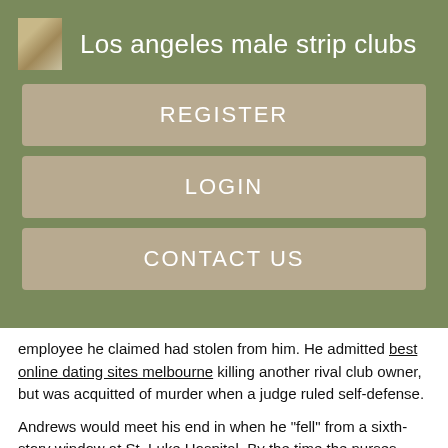Los angeles male strip clubs
REGISTER
LOGIN
CONTACT US
employee he claimed had stolen from him. He admitted best online dating sites melbourne killing another rival club owner, but was acquitted of murder when a judge ruled self-defense.
Andrews would meet his end in when he "fell" from a sixth-story window at St. Luke Hospital. By the time the nurses website sex chat to their station, the three sin city gentlemens club newport were gone and Andrews' crushed body was lying twisted on the pavement below. The Farley brothers – Rip and Taylor Farley –